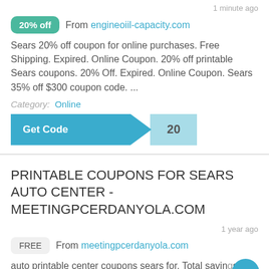1 minute ago
20% off  From engineoiil-capacity.com
Sears 20% off coupon for online purchases. Free Shipping. Expired. Online Coupon. 20% off printable Sears coupons. 20% Off. Expired. Online Coupon. Sears 35% off $300 coupon code. ...
Category:  Online
[Figure (other): Get Code button with '20' reveal]
PRINTABLE COUPONS FOR SEARS AUTO CENTER - MEETINGPCERDANYOLA.COM
1 year ago
FREE  From meetingpcerdanyola.com
auto printable center coupons sears for. Total savings decreases as offers are selected. April 4. Loved